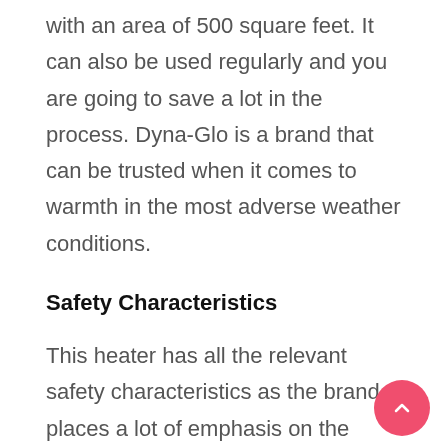with an area of 500 square feet. It can also be used regularly and you are going to save a lot in the process. Dyna-Glo is a brand that can be trusted when it comes to warmth in the most adverse weather conditions.
Safety Characteristics
This heater has all the relevant safety characteristics as the brand places a lot of emphasis on the safety of the users. This is why it has a one-touch ignition alongside the extinguish feature, allowing for an easier operation of the product. It also comes with an